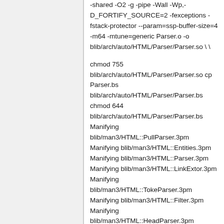-shared -O2 -g -pipe -Wall -Wp,-D_FORTIFY_SOURCE=2 -fexceptions -fstack-protector --param=ssp-buffer-size=4 -m64 -mtune=generic Parser.o -o blib/arch/auto/HTML/Parser/Parser.so \ \
chmod 755 blib/arch/auto/HTML/Parser/Parser.so cp Parser.bs blib/arch/auto/HTML/Parser/Parser.bs chmod 644 blib/arch/auto/HTML/Parser/Parser.bs Manifying blib/man3/HTML::PullParser.3pm Manifying blib/man3/HTML::Entities.3pm Manifying blib/man3/HTML::Parser.3pm Manifying blib/man3/HTML::LinkExtor.3pm Manifying blib/man3/HTML::TokeParser.3pm Manifying blib/man3/HTML::Filter.3pm Manifying blib/man3/HTML::HeadParser.3pm
GAAS/HTML-Parser-3.71.tar.gz
/usr/bin/make -- OK
Warning (usually harmless): 'YAML' not installed, will not test prerequisites